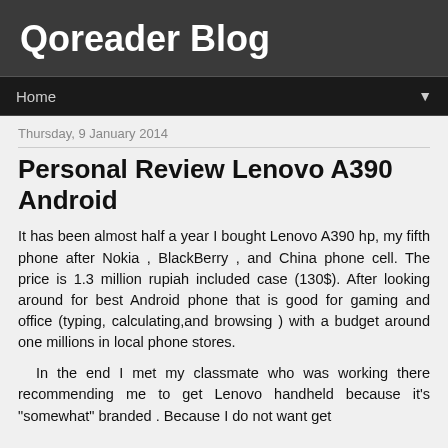Qoreader Blog
Home
Thursday, 9 January 2014
Personal Review Lenovo A390 Android
It has been almost half a year I bought Lenovo A390 hp, my fifth phone after Nokia , BlackBerry , and China phone cell. The price is 1.3 million rupiah included case (130$). After looking around for best Android phone that is good for gaming and office (typing, calculating,and browsing ) with a budget around one millions in local phone stores.
In the end I met my classmate who was working there recommending me to get Lenovo handheld because it's "somewhat" branded . Because I do not want get